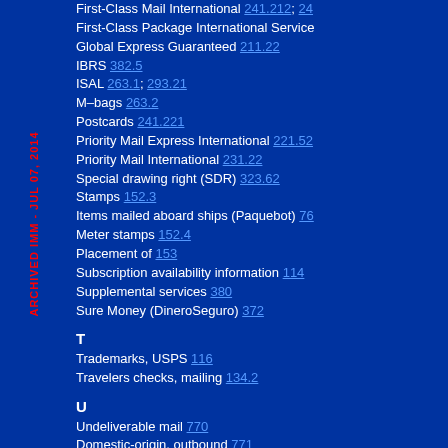First-Class Mail International 241.212; 24...
First-Class Package International Service
Global Express Guaranteed 211.22
IBRS 382.5
ISAL 263.1; 293.21
M-bags 263.2
Postcards 241.221
Priority Mail Express International 221.52
Priority Mail International 231.22
Special drawing right (SDR) 323.62
Stamps 152.3
Items mailed aboard ships (Paquebot) 76
Meter stamps 152.4
Placement of 153
Subscription availability information 114
Supplemental services 380
Sure Money (DineroSeguro) 372
T
Trademarks, USPS 116
Travelers checks, mailing 134.2
U
Undeliverable mail 770
Domestic-origin, outbound 771
Endorsements 772.1; DMM 507